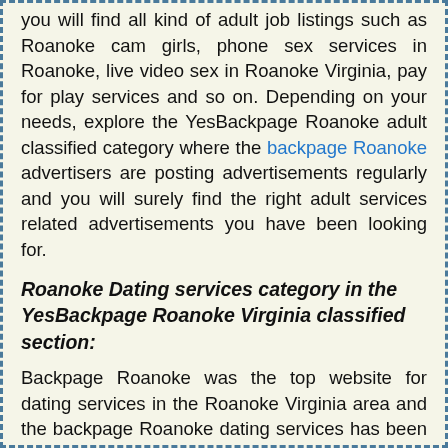you will find all kind of adult job listings such as Roanoke cam girls, phone sex services in Roanoke, live video sex in Roanoke Virginia, pay for play services and so on. Depending on your needs, explore the YesBackpage Roanoke adult classified category where the backpage Roanoke advertisers are posting advertisements regularly and you will surely find the right adult services related advertisements you have been looking for.
Roanoke Dating services category in the YesBackpage Roanoke Virginia classified section:
Backpage Roanoke was the top website for dating services in the Roanoke Virginia area and the backpage Roanoke dating services has been replaced with the YesBackpage Roanoke dating services. If you are a woman seeking for a man in the Roanoke Virginia area, you will find your desired man in the YesBackpage Roanoke dating woman man section. Similarly, if you are a man looking for a woman, you will find beautiful, amazing woman